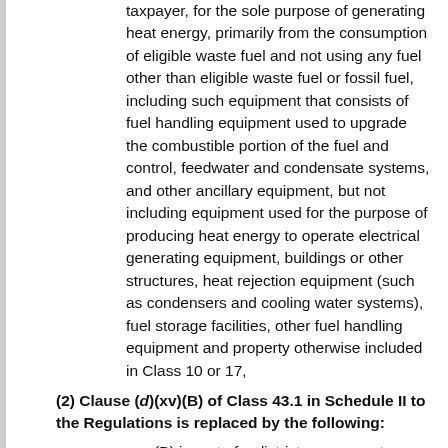taxpayer, for the sole purpose of generating heat energy, primarily from the consumption of eligible waste fuel and not using any fuel other than eligible waste fuel or fossil fuel, including such equipment that consists of fuel handling equipment used to upgrade the combustible portion of the fuel and control, feedwater and condensate systems, and other ancillary equipment, but not including equipment used for the purpose of producing heat energy to operate electrical generating equipment, buildings or other structures, heat rejection equipment (such as condensers and cooling water systems), fuel storage facilities, other fuel handling equipment and property otherwise included in Class 10 or 17,
(2) Clause (d)(xv)(B) of Class 43.1 in Schedule II to the Regulations is replaced by the following:
(B) is part of a district energy system that uses thermal energy that is primarily supplied by equipment that is described in subparagraphs (i), (iv) or (ix) or would be described in those subparagraphs if owned by the taxpayer, and
(3) Subsections (1) and (2) are deemed to have come into force on March 29, 2012.